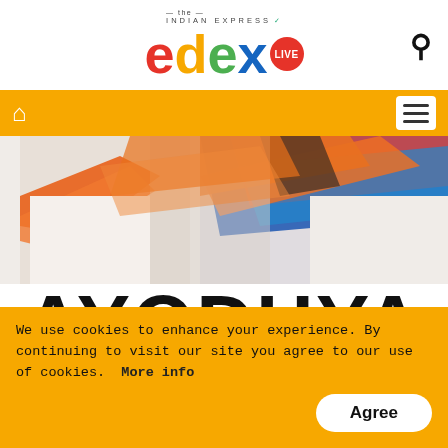[Figure (logo): Edex Live logo with Indian Express branding and search icon]
[Figure (other): Orange navigation bar with home icon and hamburger menu]
[Figure (photo): Photo of people wearing colorful traditional Indian scarves/shawls in orange, blue, and red]
AYODHYA
CITY OF FAITH,
CITY OF DISCORD
We use cookies to enhance your experience. By continuing to visit our site you agree to our use of cookies.  More info
Agree